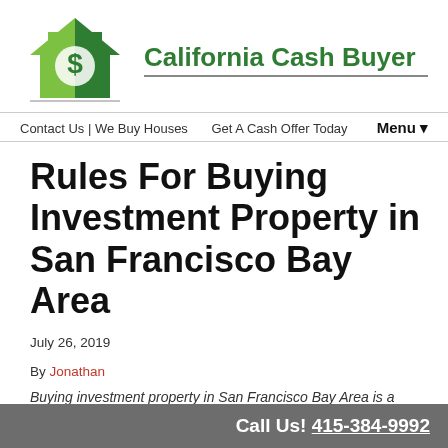[Figure (logo): California Cash Buyer logo: green house icon with dollar sign and brand name text]
Contact Us | We Buy Houses   Get A Cash Offer Today   Menu ▾
Rules For Buying Investment Property in San Francisco Bay Area
July 26, 2019
By Jonathan
Buying investment property in San Francisco Bay Area is a
Call Us! 415-384-9992